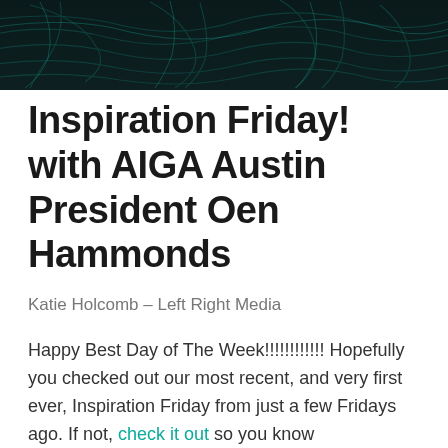[Figure (illustration): Dark teal/black topographic map pattern used as decorative header banner]
Inspiration Friday! with AIGA Austin President Oen Hammonds
Katie Holcomb – Left Right Media
Happy Best Day of The Week!!!!!!!!!!!! Hopefully you checked out our most recent, and very first ever, Inspiration Friday from just a few Fridays ago. If not, check it out so you know